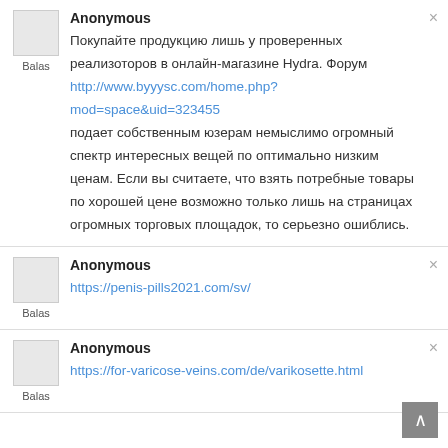Anonymous
Покупайте продукцию лишь у проверенных реализоторов в онлайн-магазине Hydra. Форум http://www.byyysc.com/home.php?mod=space&uid=323455 подает собственным юзерам немыслимо огромный спектр интересных вещей по оптимально низким ценам. Если вы считаете, что взять потребные товары по хорошей цене возможно только лишь на страницах огромных торговых площадок, то серьезно ошиблись.
Anonymous
https://penis-pills2021.com/sv/
Anonymous
https://for-varicose-veins.com/de/varikosette.html